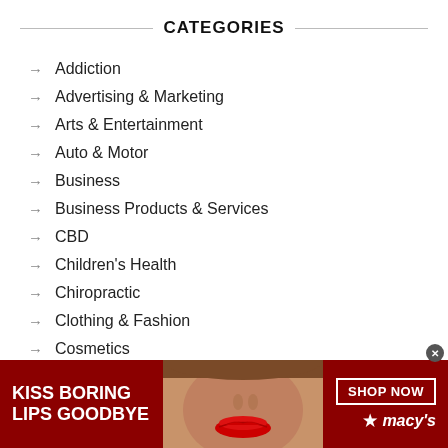CATEGORIES
Addiction
Advertising & Marketing
Arts & Entertainment
Auto & Motor
Business
Business Products & Services
CBD
Children's Health
Chiropractic
Clothing & Fashion
Cosmetics
Dental Health
Employment
[Figure (other): Advertisement banner for Macy's lipstick promotion. Red background with text 'KISS BORING LIPS GOODBYE', a photo of a woman's face with red lips in center, and 'SHOP NOW' button with Macy's star logo on right.]